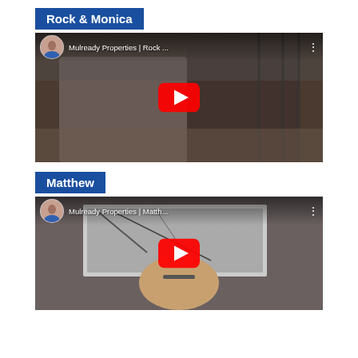Rock & Monica
[Figure (screenshot): YouTube video thumbnail showing a man and woman sitting together. Title reads 'Mulready Properties | Rock ...' with a YouTube play button overlay and channel avatar in top left.]
Matthew
[Figure (screenshot): YouTube video thumbnail showing a man with glasses. Title reads 'Mulready Properties | Matth...' with a YouTube play button overlay and channel avatar in top left.]